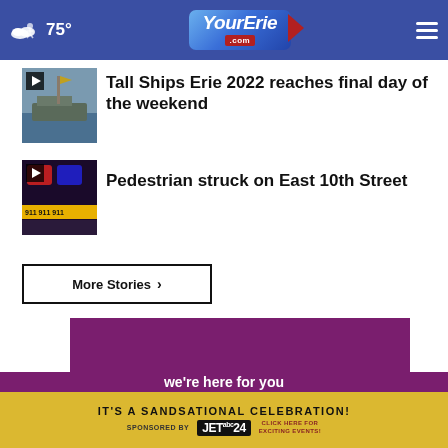75° YourErie.com
[Figure (screenshot): Thumbnail image of tall ship at dock with play button overlay]
Tall Ships Erie 2022 reaches final day of the weekend
[Figure (screenshot): Thumbnail image of police lights scene with play button overlay]
Pedestrian struck on East 10th Street
More Stories ›
[Figure (screenshot): Purple advertisement background with text 'Your Medicare']
Your Medicare
IT'S A SANDSATIONAL CELEBRATION! SPONSORED BY JET 24 CLICK HERE FOR EXCITING EVENTS!
we're here for you